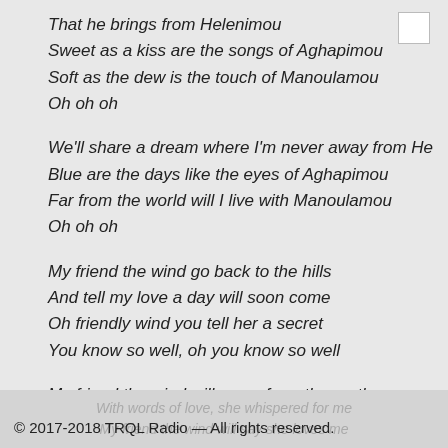That he brings from Helenimou
Sweet as a kiss are the songs of Aghapimou
Soft as the dew is the touch of Manoulamou
Oh oh oh
We'll share a dream where I'm never away from He
Blue are the days like the eyes of Aghapimou
Far from the world will I live with Manoulamou
Oh oh oh
My friend the wind go back to the hills
And tell my love a day will soon come
Oh friendly wind you tell her a secret
You know so well, oh you know so well
My friend the wind will come from the north
© 2017-2018 TRQL Radio — All rights reserved.
With words of love, she whispered for me
My friend the wind will say she loves me